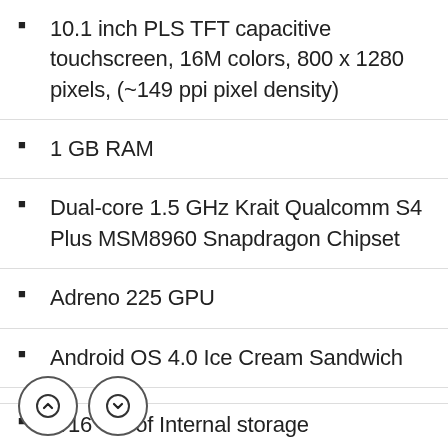10.1 inch PLS TFT capacitive touchscreen, 16M colors, 800 x 1280 pixels, (~149 ppi pixel density)
1 GB RAM
Dual-core 1.5 GHz Krait Qualcomm S4 Plus MSM8960 Snapdragon Chipset
Adreno 225 GPU
Android OS 4.0 Ice Cream Sandwich
microSD Memory Card slot for up to 64 GB
8/16 GB of Internal storage